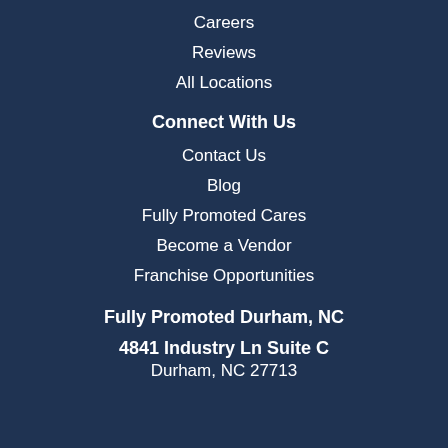Careers
Reviews
All Locations
Connect With Us
Contact Us
Blog
Fully Promoted Cares
Become a Vendor
Franchise Opportunities
Fully Promoted Durham, NC
4841 Industry Ln Suite C
Durham, NC 27713